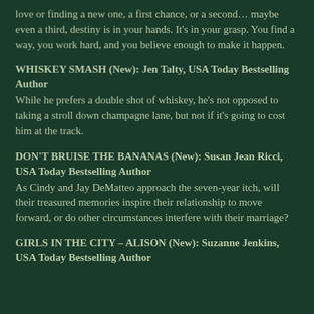love or finding a new one, a first chance, or a second… maybe even a third, destiny is in your hands. It's in your grasp. You find a way, you work hard, and you believe enough to make it happen.
WHISKEY SMASH (New): Jen Talty, USA Today Bestselling Author
While he prefers a double shot of whiskey, he's not opposed to taking a stroll down champagne lane, but not if it's going to cost him at the track.
DON'T BRUISE THE BANANAS (New): Susan Jean Ricci, USA Today Bestselling Author
As Cindy and Jay DeMatteo approach the seven-year itch, will their treasured memories inspire their relationship to move forward, or do other circumstances interfere with their marriage?
GIRLS IN THE CITY – ALISON (New): Suzanne Jenkins, USA Today Bestselling Author